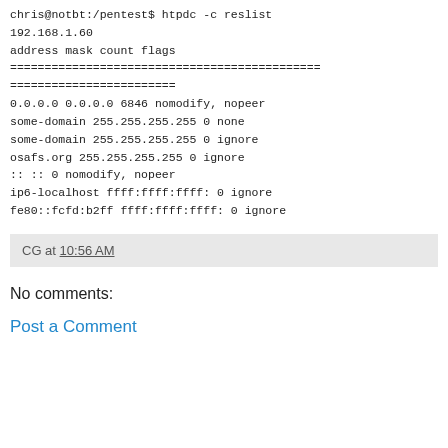chris@notbt:/pentest$ htpdc -c reslist 192.168.1.60
address mask count flags
=============================================
========================
0.0.0.0 0.0.0.0 6846 nomodify, nopeer
some-domain 255.255.255.255 0 none
some-domain 255.255.255.255 0 ignore
osafs.org 255.255.255.255 0 ignore
:: :: 0 nomodify, nopeer
ip6-localhost ffff:ffff:ffff: 0 ignore
fe80::fcfd:b2ff ffff:ffff:ffff: 0 ignore
CG at 10:56 AM
No comments:
Post a Comment